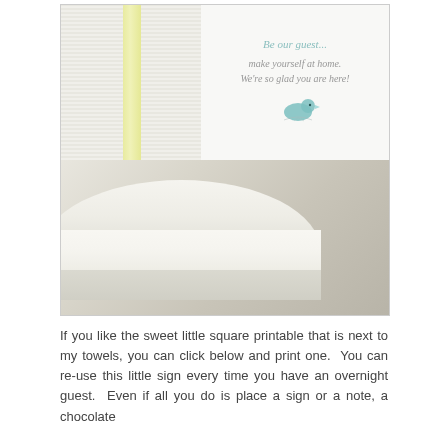[Figure (photo): Photo of folded white towels tied with a pale yellow-green ribbon, next to a small square card that reads 'Be our guest... make yourself at home. We're so glad you are here!' with a teal bird illustration. Below is a close-up of a rolled white towel on a gray surface.]
If you like the sweet little square printable that is next to my towels, you can click below and print one.  You can re-use this little sign every time you have an overnight guest.  Even if all you do is place a sign or a note, a chocolate